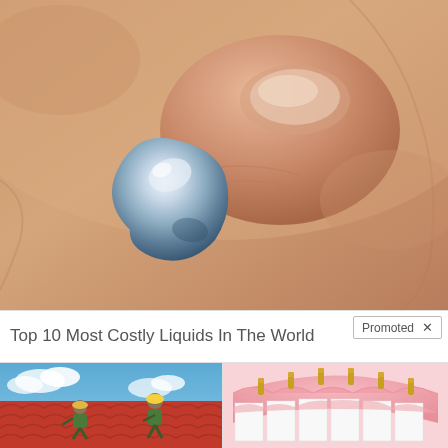[Figure (photo): Close-up photograph of a human hand/thumb touching a metallic liquid mercury-like droplet on skin surface]
Top 10 Most Costly Liquids In The World
Promoted X
[Figure (photo): Photo of construction workers installing red metal roofing tiles on a house roof]
Forget Expensive Roofing (Do This Instead) - See Options
1,457
[Figure (illustration): Medical illustration showing dental implants inserted into gum tissue with white teeth]
Think Dental Implants Are Expensive? Think Again (See Prices)
23,601